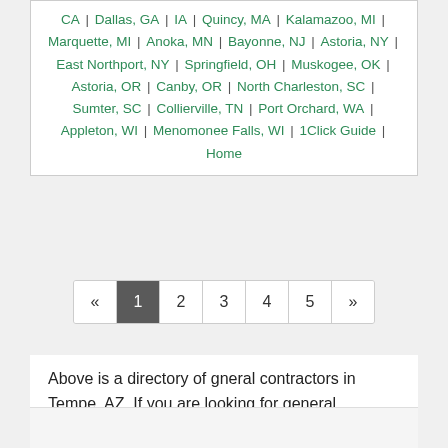CA | Dallas, GA | IA | Quincy, MA | Kalamazoo, MI | Marquette, MI | Anoka, MN | Bayonne, NJ | Astoria, NY | East Northport, NY | Springfield, OH | Muskogee, OK | Astoria, OR | Canby, OR | North Charleston, SC | Sumter, SC | Collierville, TN | Port Orchard, WA | Appleton, WI | Menomonee Falls, WI | 1Click Guide | Home
« 1 2 3 4 5 »
Above is a directory of gneral contractors in Tempe, AZ. If you are looking for general contractors near you, you might find a lot of gneral contractors listed in Tempe, AZ that provide the services you need. We hope to help you to find the best general contractors in Tempe, AZ!